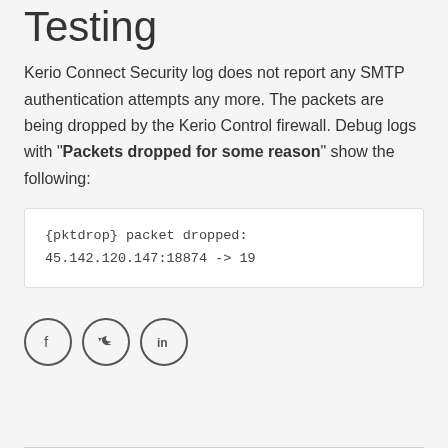Testing
Kerio Connect Security log does not report any SMTP authentication attempts any more. The packets are being dropped by the Kerio Control firewall. Debug logs with "Packets dropped for some reason" show the following:
{pktdrop} packet dropped:
45.142.120.147:18874 -> 19
[Figure (other): Social media share icons: Facebook, Twitter, LinkedIn in circular outlines]